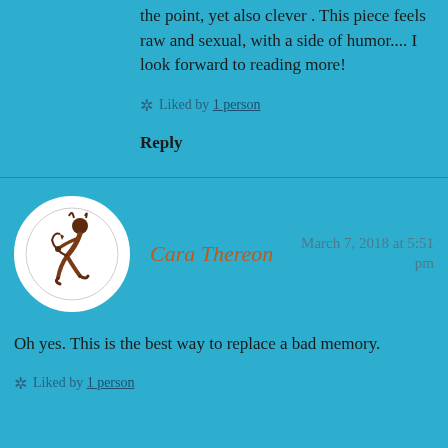the point, yet also clever . This piece feels raw and sexual, with a side of humor.... I look forward to reading more!
Liked by 1 person
Reply
Cara Thereon
March 7, 2018 at 5:51 pm
Oh yes. This is the best way to replace a bad memory.
Liked by 1 person